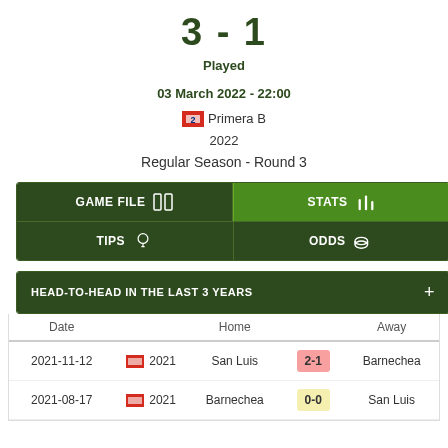3 - 1
Played
03 March 2022 - 22:00
🇨🇱 Primera B
2022
Regular Season - Round 3
| GAME FILE | STATS | TIPS | ODDS |
| --- | --- | --- | --- |
HEAD-TO-HEAD IN THE LAST 3 YEARS
| Date |  | Home |  | Away |
| --- | --- | --- | --- | --- |
| 2021-11-12 | 🇨🇱 2021 | San Luis | 2-1 | Barnechea |
| 2021-08-17 | 🇨🇱 2021 | Barnechea | 0-0 | San Luis |